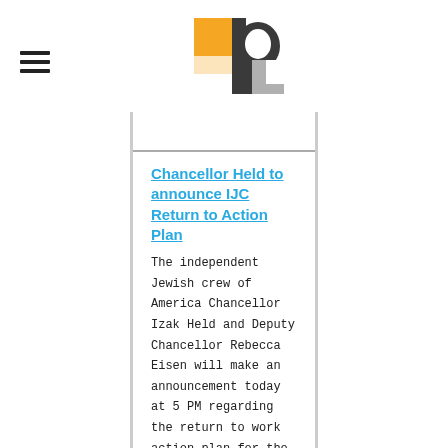[Figure (logo): IJC logo with orange, dark gray, and light gray geometric shapes forming letters IJC]
Chancellor Held to announce IJC Return to Action Plan
The independent Jewish crew of America Chancellor Izak Held and Deputy Chancellor Rebecca Eisen will make an announcement today at 5 PM regarding the return to work action plan for the IJC. It will air on our social media channels live. Noam EdryVice Chancellor for Communications, Head Publicist and Executive DirectorLinor Ben-NaimAssociate Vice Chancellor for Public Relations and Lead Ambassador [...]